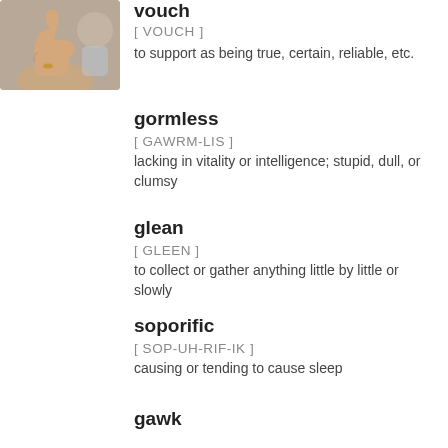[Figure (photo): Photo of hands giving a thumbs up gesture]
vouch
[ VOUCH ]
to support as being true, certain, reliable, etc.
gormless
[ GAWRM-LIS ]
lacking in vitality or intelligence; stupid, dull, or clumsy
glean
[ GLEEN ]
to collect or gather anything little by little or slowly
soporific
[ SOP-UH-RIF-IK ]
causing or tending to cause sleep
gawk